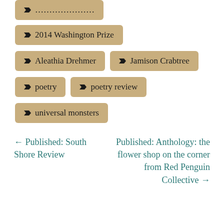2014 Washington Prize
Aleathia Drehmer
Jamison Crabtree
poetry
poetry review
universal monsters
← Published: South Shore Review
Published: Anthology: the flower shop on the corner from Red Penguin Collective →